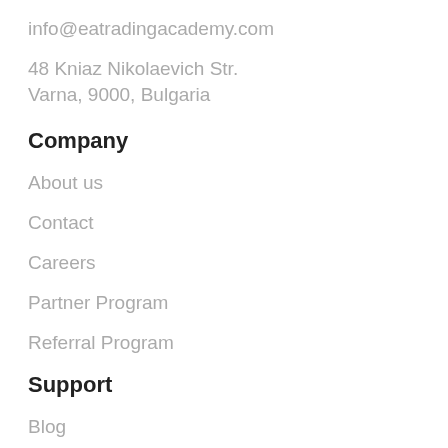info@eatradingacademy.com
48 Kniaz Nikolaevich Str.
Varna, 9000, Bulgaria
Company
About us
Contact
Careers
Partner Program
Referral Program
Support
Blog
Forum
FAQ